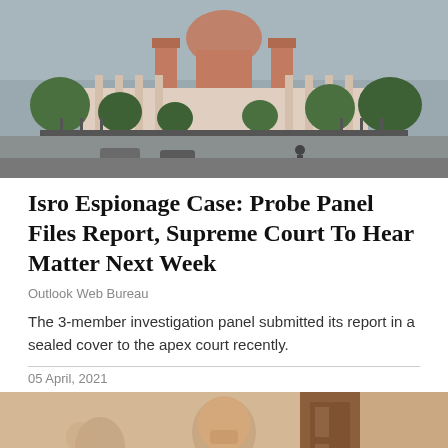[Figure (photo): Exterior view of the Supreme Court of India building with red and white architecture, trees and gate in foreground, overcast sky]
Isro Espionage Case: Probe Panel Files Report, Supreme Court To Hear Matter Next Week
Outlook Web Bureau
The 3-member investigation panel submitted its report in a sealed cover to the apex court recently.
05 April, 2021
[Figure (photo): Close-up of an elderly man in a formal setting with blurred background showing wooden doors]